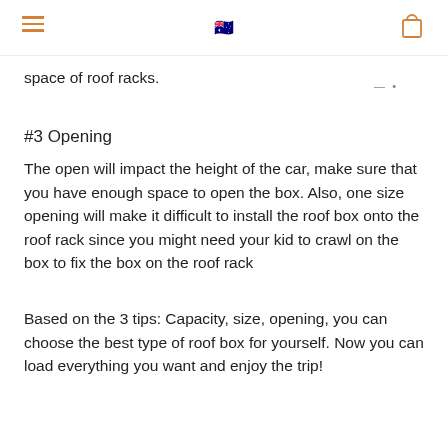[hamburger menu] [Australian flag] [cart icon]
space of roof racks.
#3 Opening
The open will impact the height of the car, make sure that you have enough space to open the box. Also, one size opening will make it difficult to install the roof box onto the roof rack since you might need your kid to crawl on the box to fix the box on the roof rack
Based on the 3 tips: Capacity, size, opening, you can choose the best type of roof box for yourself. Now you can load everything you want and enjoy the trip!